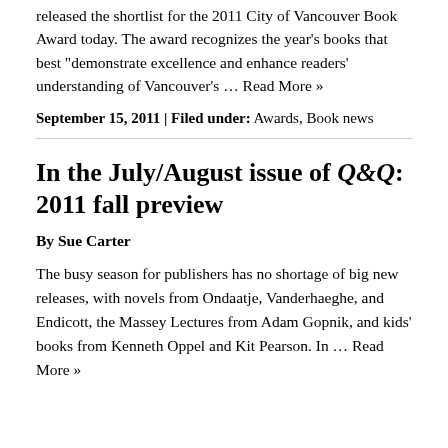released the shortlist for the 2011 City of Vancouver Book Award today. The award recognizes the year's books that best "demonstrate excellence and enhance readers' understanding of Vancouver's … Read More »
September 15, 2011 | Filed under: Awards, Book news
In the July/August issue of Q&Q: 2011 fall preview
By Sue Carter
The busy season for publishers has no shortage of big new releases, with novels from Ondaatje, Vanderhaeghe, and Endicott, the Massey Lectures from Adam Gopnik, and kids' books from Kenneth Oppel and Kit Pearson. In … Read More »